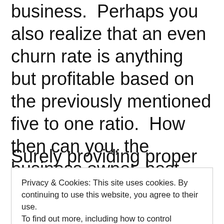business.  Perhaps you also realize that an even churn rate is anything but profitable based on the previously mentioned five to one ratio.  How then can you, the business owner, best retain the customers you already have, and even increase their spending, not just avoid losing their lifetime value, but in fact increase their value to your business.
Surely providing proper customer service,
Privacy & Cookies: This site uses cookies. By continuing to use this website, you agree to their use.
To find out more, including how to control cookies, see here: Cookie Policy
that it's important to have some of the